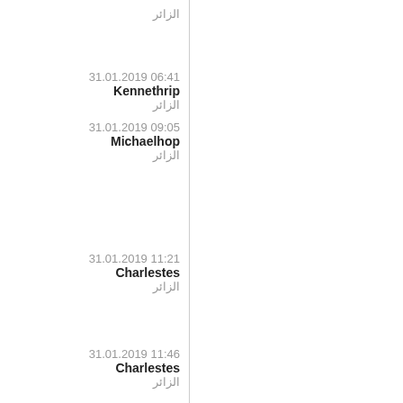الزائر
31.01.2019 06:41
Kennethrip
الزائر
31.01.2019 09:05
Michaelhop
الزائر
31.01.2019 11:21
Charlestes
الزائر
31.01.2019 11:46
Charlestes
الزائر